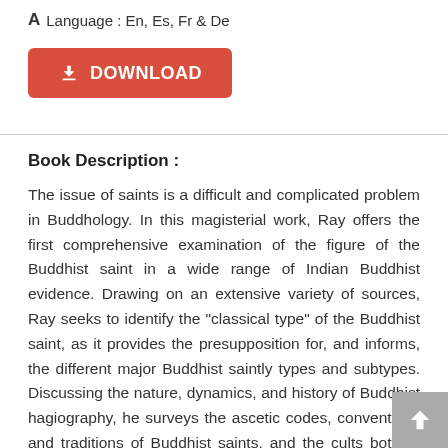A Language : En, Es, Fr & De
[Figure (other): Red download button with download icon and text DOWNLOAD]
Book Description :
The issue of saints is a difficult and complicated problem in Buddhology. In this magisterial work, Ray offers the first comprehensive examination of the figure of the Buddhist saint in a wide range of Indian Buddhist evidence. Drawing on an extensive variety of sources, Ray seeks to identify the "classical type" of the Buddhist saint, as it provides the presupposition for, and informs, the different major Buddhist saintly types and subtypes. Discussing the nature, dynamics, and history of Buddhist hagiography, he surveys the ascetic codes, conventions and traditions of Buddhist saints, and the cults both of living saints and of those who have